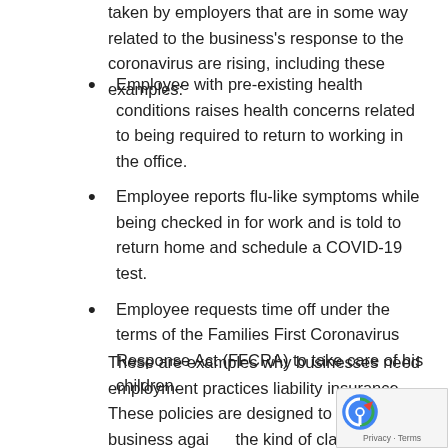taken by employers that are in some way related to the business's response to the coronavirus are rising, including these examples:
Employee with pre-existing health conditions raises health concerns related to being required to return to working in the office.
Employee reports flu-like symptoms while being checked in for work and is told to return home and schedule a COVID-19 test.
Employee requests time off under the terms of the Families First Coronavirus Response Act (FFCRA) to take care of his children.
These are examples why businesses need employment practices liability insurance. These policies are designed to protect the business against the kind of claims that arise out of the hiring, firing, training, and leading of employees. What kind of